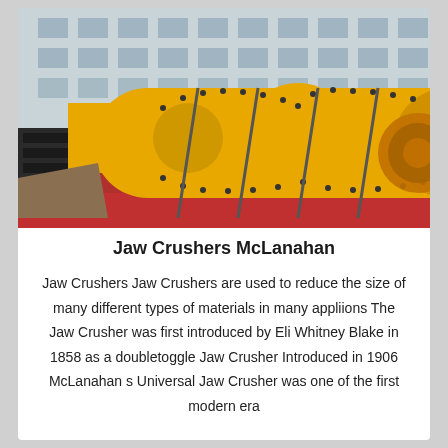[Figure (photo): Large yellow industrial ball mill / grinding cylinder equipment loaded on a red flatbed truck, secured with straps, with a multi-story building in the background.]
Jaw Crushers McLanahan
Jaw Crushers Jaw Crushers are used to reduce the size of many different types of materials in many appliions The Jaw Crusher was first introduced by Eli Whitney Blake in 1858 as a doubletoggle Jaw Crusher Introduced in 1906 McLanahan s Universal Jaw Crusher was one of the first modern era single doubletoggle Jaw Crushers